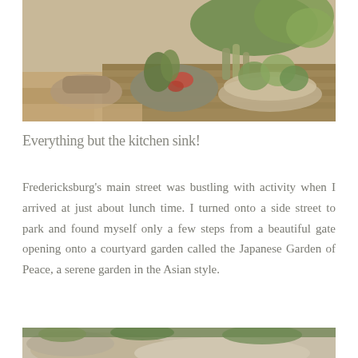[Figure (photo): Photo of succulent plants and cacti arranged in stone/wooden containers in a garden setting, sandy ground visible]
Everything but the kitchen sink!
Fredericksburg's main street was bustling with activity when I arrived at just about lunch time. I turned onto a side street to park and found myself only a few steps from a beautiful gate opening onto a courtyard garden called the Japanese Garden of Peace, a serene garden in the Asian style.
[Figure (photo): Partial photo showing large rocks and green plants in a garden, bottom of page]